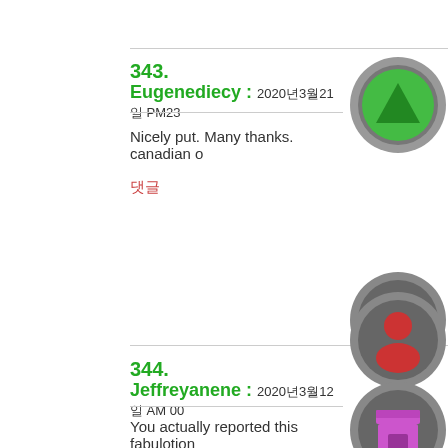343.
Eugenediecy : 2020년3월21일 PM23
Nicely put. Many thanks. canadian o
댓글
[Figure (illustration): Green circular avatar with upward triangle icon]
[Figure (illustration): Grey circular avatar with house icon]
344.
Jeffreyanene : 2020년3월12일 AM 00
You actually reported this fabulotion
댓글
[Figure (illustration): Grey circular avatar with red person/user icon]
[Figure (illustration): Grey circular avatar with purple storefront/shop icon]
[Figure (illustration): Grey circular avatar with gold star+plus icon]
345.
KeithNonse : 2020년3월12일 AM 02